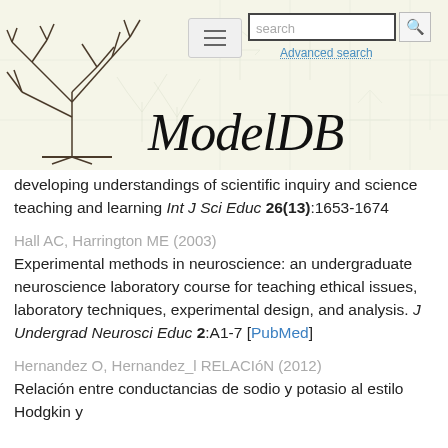ModelDB — Advanced search
developing understandings of scientific inquiry and science teaching and learning Int J Sci Educ 26(13):1653-1674
Hall AC, Harrington ME (2003) Experimental methods in neuroscience: an undergraduate neuroscience laboratory course for teaching ethical issues, laboratory techniques, experimental design, and analysis. J Undergrad Neurosci Educ 2:A1-7 [PubMed]
Hernandez O, Hernandez_l RELACIóN (2012) Relación entre conductancias de sodio y potasio al estilo Hodgkin y